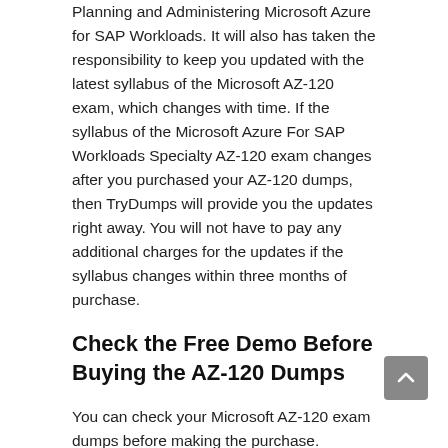Planning and Administering Microsoft Azure for SAP Workloads. It will also has taken the responsibility to keep you updated with the latest syllabus of the Microsoft AZ-120 exam, which changes with time. If the syllabus of the Microsoft Azure For SAP Workloads Specialty AZ-120 exam changes after you purchased your AZ-120 dumps, then TryDumps will provide you the updates right away. You will not have to pay any additional charges for the updates if the syllabus changes within three months of purchase.
Check the Free Demo Before Buying the AZ-120 Dumps
You can check your Microsoft AZ-120 exam dumps before making the purchase. TryDumps understands your concern about the quality of the Microsoft Azure For SAP Workloads Specialty